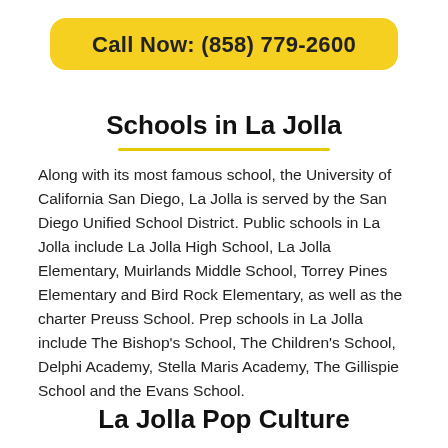Call Now: (858) 779-2600
Schools in La Jolla
Along with its most famous school, the University of California San Diego, La Jolla is served by the San Diego Unified School District. Public schools in La Jolla include La Jolla High School, La Jolla Elementary, Muirlands Middle School, Torrey Pines Elementary and Bird Rock Elementary, as well as the charter Preuss School. Prep schools in La Jolla include The Bishop's School, The Children's School, Delphi Academy, Stella Maris Academy, The Gillispie School and the Evans School.
La Jolla Pop Culture